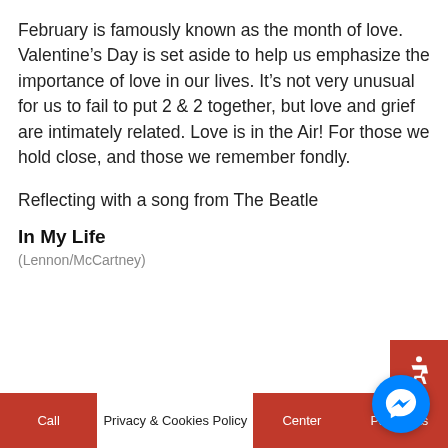February is famously known as the month of love. Valentine's Day is set aside to help us emphasize the importance of love in our lives. It's not very unusual for us to fail to put 2 & 2 together, but love and grief are intimately related. Love is in the Air! For those we hold close, and those we remember fondly.
Reflecting with a song from The Beatle
In My Life
[Figure (other): Red accessibility icon button (wheelchair symbol) in bottom-right area]
[Figure (other): Facebook Messenger circular button (blue with lightning bolt)]
Call | Privacy & Cookies Policy | Center | Payments